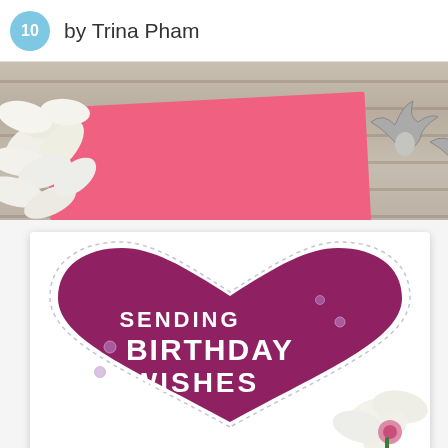10 by Trina Pham
[Figure (photo): Close-up photo of a handmade birthday card featuring a large magenta/berry glitter heart with stitched heart outline border on a white card base. White text reads 'SENDING BIRTHDAY WISHES'. Small purple sequins are scattered on the heart. White flowers appear in top-left and bottom-right corners. Above the card, bird die-cut shapes are visible on a wood-grain background with a pink envelope. The card sits on a gray wood surface.]